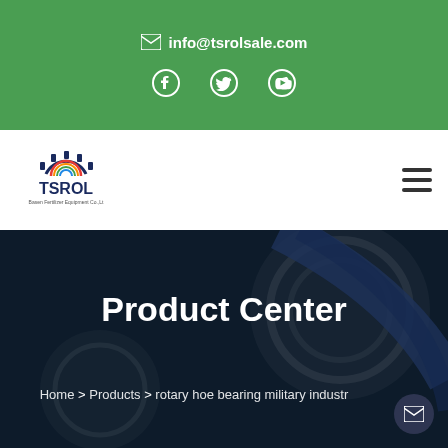✉ info@tsrolsale.com
[Figure (logo): TSROL company logo with gear icon]
Product Center
Home > Products > rotary hoe bearing military industr